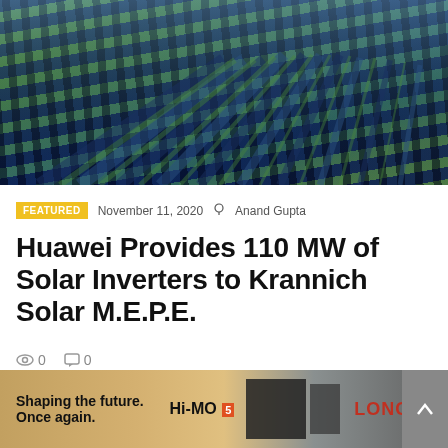[Figure (photo): Aerial view of a large solar panel farm with rows of dark blue panels on green grass extending to the horizon]
FEATURED   November 11, 2020   Anand Gupta
Huawei Provides 110 MW of Solar Inverters to Krannich Solar M.E.P.E.
0 views  0 comments
[Figure (photo): Advertisement banner: Shaping the future. Once again. Hi-MO 5 LONGI]